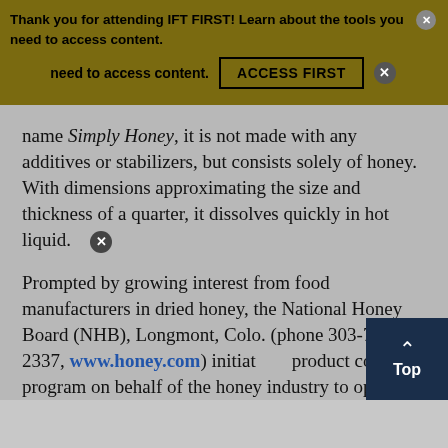Thank you for attending IFT FIRST! Learn about the tools you need to access content. ACCESS FIRST
name Simply Honey, it is not made with any additives or stabilizers, but consists solely of honey. With dimensions approximating the size and thickness of a quarter, it dissolves quickly in hot liquid.
Prompted by growing interest from food manufacturers in dried honey, the National Honey Board (NHB), Longmont, Colo. (phone 303-776-2337, www.honey.com) initiated a product concept program on behalf of the honey industry to optimize the utility of various